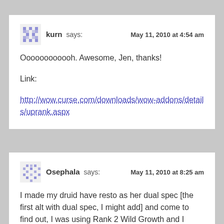kurn says: May 11, 2010 at 4:54 am
Oooooooooooh. Awesome, Jen, thanks!
Link:
http://wow.curse.com/downloads/wow-addons/details/uprank.aspx
Osephala says: May 11, 2010 at 8:25 am
I made my druid have resto as her dual spec [the first alt with dual spec, I might add] and come to find out, I was using Rank 2 Wild Growth and I would never had known unless this awesome